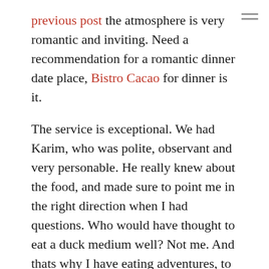previous post the atmosphere is very romantic and inviting. Need a recommendation for a romantic dinner date place, Bistro Cacao for dinner is it.
The service is exceptional. We had Karim, who was polite, observant and very personable. He really knew about the food, and made sure to point me in the right direction when I had questions. Who would have thought to eat a duck medium well? Not me. And thats why I have eating adventures, to learn as much as I can about food. Now lets get to the good stuff. Food.